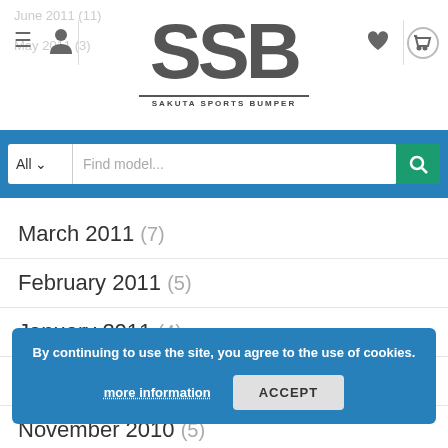SSB SAKUTA SPORTS BUMPER
[Figure (screenshot): Search bar with All dropdown and Find model... placeholder and teal search button]
March 2011 (7)
February 2011 (5)
January 2011 (4)
December 2010 (4)
November 2010 (5)
October 2010 (4)
September 2010 (3)
August 2010 (3)
By continuing to use the site, you agree to the use of cookies. more information ACCEPT